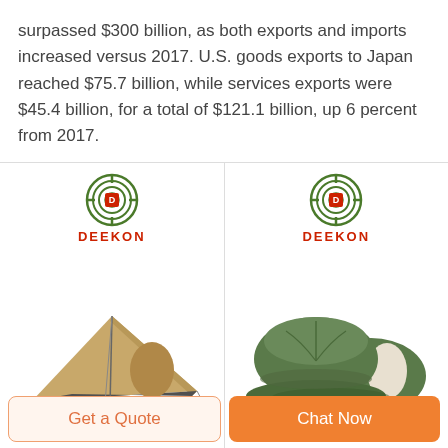surpassed $300 billion, as both exports and imports increased versus 2017. U.S. goods exports to Japan reached $75.7 billion, while services exports were $45.4 billion, for a total of $121.1 billion, up 6 percent from 2017.
[Figure (photo): Deekon branded low-profile tent in tan/khaki color]
[Figure (photo): Deekon branded olive green military-style baseball caps (front and back view)]
Get a Quote
Chat Now